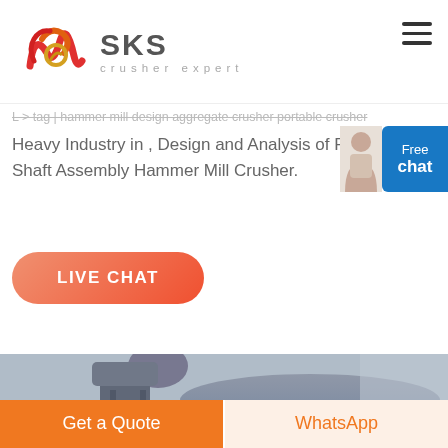[Figure (logo): SKS Crusher Expert logo with red swirl graphic and grey SKS text with 'crusher expert' subtitle]
L > tag | hammer mill design aggregate crusher portable crusher Heavy Industry in , Design and Analysis of Rotor Shaft Assembly Hammer Mill Crusher.
[Figure (infographic): Free chat button (blue) with customer service avatar]
[Figure (infographic): LIVE CHAT orange rounded button]
[Figure (photo): Industrial hammer mill or crusher machine with motor on top, grey metallic equipment on stand]
Get a Quote
WhatsApp